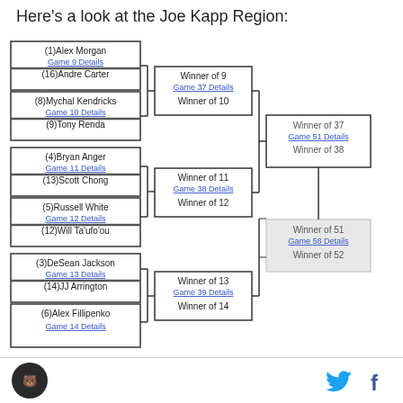Here's a look at the Joe Kapp Region:
[Figure (other): Tournament bracket for the Joe Kapp Region showing 16 players across 4 rounds. Round 1: (1)Alex Morgan vs (16)Andre Carter - Game 9; (8)Mychal Kendricks vs (9)Tony Renda - Game 10; (4)Bryan Anger vs (13)Scott Chong - Game 11; (5)Russell White vs (12)Will Ta'ufo'ou - Game 12; (3)DeSean Jackson vs (14)JJ Arrington - Game 13; (6)Alex Fillipenko - Game 14. Round 2: Winner of 9/Winner of 10 (Game 37), Winner of 11/Winner of 12 (Game 38), Winner of 13/Winner of 14 (Game 39). Round 3: Winner of 37/Winner of 38 (Game 51). Final: Winner of 51/Winner of 52 (Game 58).]
Logo, Twitter icon, Facebook icon